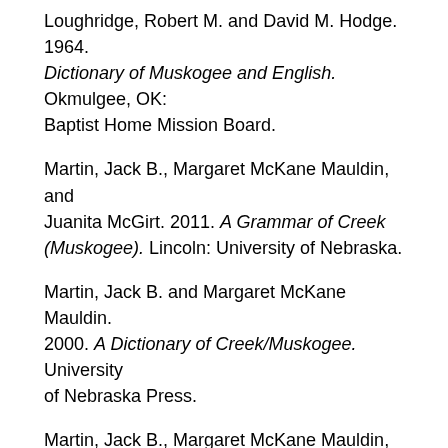Loughridge, Robert M. and David M. Hodge. 1964. Dictionary of Muskogee and English. Okmulgee, OK: Baptist Home Mission Board.
Martin, Jack B., Margaret McKane Mauldin, and Juanita McGirt. 2011. A Grammar of Creek (Muskogee). Lincoln: University of Nebraska.
Martin, Jack B. and Margaret McKane Mauldin. 2000. A Dictionary of Creek/Muskogee. University of Nebraska Press.
Martin, Jack B., Margaret McKane Mauldin, and Juanita McGirt. 2004. Totkv Mocvse- New Fire: Creek Folktales by Earnest Gouge. Norman, OK: University of Oklahoma Press.
Source. Archival Materials in the Native American...